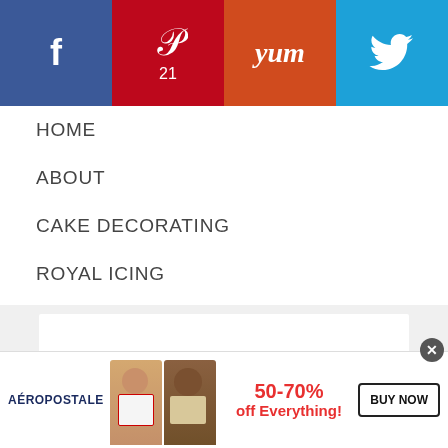[Figure (screenshot): Social sharing bar with Facebook, Pinterest (21), Yummly, and Twitter buttons]
HOME
ABOUT
CAKE DECORATING
ROYAL ICING
SHOP MY KITCHEN
CONTACT
MTM CRAFTS
[Figure (screenshot): Ad placeholder area with white box and dark button bar on grey background]
[Figure (screenshot): Aeropostale advertisement banner: 50-70% off Everything! BUY NOW]